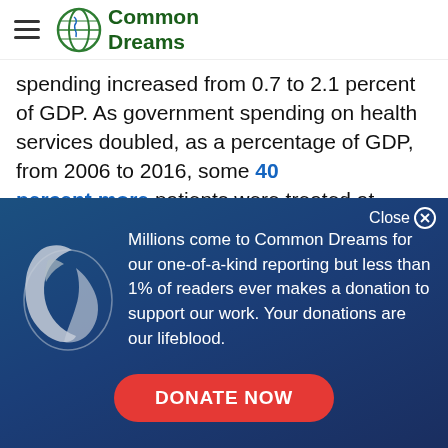Common Dreams
spending increased from 0.7 to 2.1 percent of GDP. As government spending on health services doubled, as a percentage of GDP, from 2006 to 2016, some 40 percent more patients were treated at public hospitals
[Figure (infographic): Common Dreams donation modal overlay on dark blue gradient background, featuring a globe icon and text: 'Millions come to Common Dreams for our one-of-a-kind reporting but less than 1% of readers ever makes a donation to support our work. Your donations are our lifeblood.' with a red DONATE NOW button.]